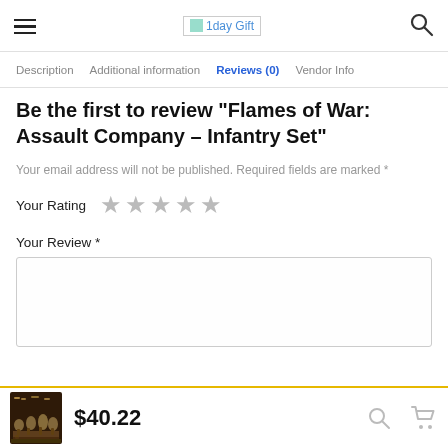1day Gift
Description  Additional information  Reviews (0)  Vendor Info
Be the first to review “Flames of War: Assault Company – Infantry Set”
Your email address will not be published. Required fields are marked *
Your Rating ★★★★★
Your Review *
$40.22